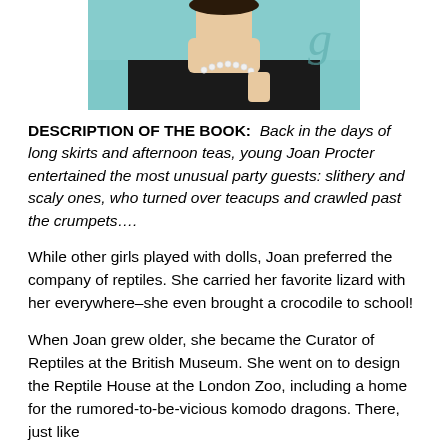[Figure (illustration): Partial view of a portrait illustration showing a woman in a black outfit with pearl necklace against a teal/blue-green background]
DESCRIPTION OF THE BOOK: Back in the days of long skirts and afternoon teas, young Joan Procter entertained the most unusual party guests: slithery and scaly ones, who turned over teacups and crawled past the crumpets….
While other girls played with dolls, Joan preferred the company of reptiles. She carried her favorite lizard with her everywhere–she even brought a crocodile to school!
When Joan grew older, she became the Curator of Reptiles at the British Museum. She went on to design the Reptile House at the London Zoo, including a home for the rumored-to-be-vicious komodo dragons. There, just like